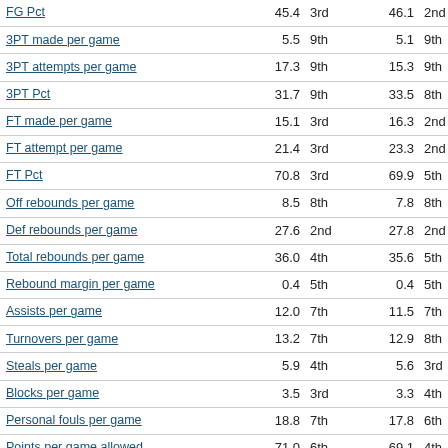| Stat | Val1 | Rank1 | Val2 | Rank2 |
| --- | --- | --- | --- | --- |
| FG Pct | 45.4 | 3rd | 46.1 | 2nd |
| 3PT made per game | 5.5 | 9th | 5.1 | 9th |
| 3PT attempts per game | 17.3 | 9th | 15.3 | 9th |
| 3PT Pct | 31.7 | 9th | 33.5 | 8th |
| FT made per game | 15.1 | 3rd | 16.3 | 2nd |
| FT attempt per game | 21.4 | 3rd | 23.3 | 2nd |
| FT Pct | 70.8 | 3rd | 69.9 | 5th |
| Off rebounds per game | 8.5 | 8th | 7.8 | 8th |
| Def rebounds per game | 27.6 | 2nd | 27.8 | 2nd |
| Total rebounds per game | 36.0 | 4th | 35.6 | 5th |
| Rebound margin per game | 0.4 | 5th | 0.4 | 5th |
| Assists per game | 12.0 | 7th | 11.5 | 7th |
| Turnovers per game | 13.2 | 7th | 12.9 | 8th |
| Steals per game | 5.9 | 4th | 5.6 | 3rd |
| Blocks per game | 3.5 | 3rd | 3.3 | 4th |
| Personal fouls per game | 18.8 | 7th | 17.8 | 6th |
| Points per game allowed | 71.0 | 6th | 69.1 | 4th |
| Opponents' Field goal percentage | 42.6 | 2nd | 42.4 | 2nd |